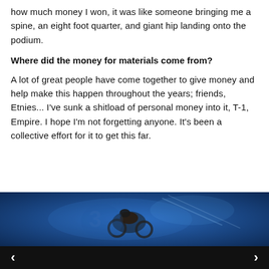how much money I won, it was like someone bringing me a spine, an eight foot quarter, and giant hip landing onto the podium.
Where did the money for materials come from?
A lot of great people have come together to give money and help make this happen throughout the years; friends, Etnies... I've sunk a shitload of personal money into it, T-1, Empire. I hope I'm not forgetting anyone. It's been a collective effort for it to get this far.
[Figure (photo): Dark blue-toned action photo of a BMX rider performing a trick, with blurred motion and stylized graphic elements in the background.]